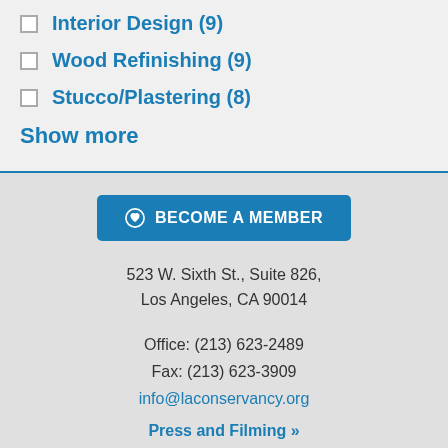Interior Design (9)
Wood Refinishing (9)
Stucco/Plastering (8)
Show more
BECOME A MEMBER
523 W. Sixth St., Suite 826, Los Angeles, CA 90014
Office: (213) 623-2489
Fax: (213) 623-3909
info@laconservancy.org
Press and Filming »